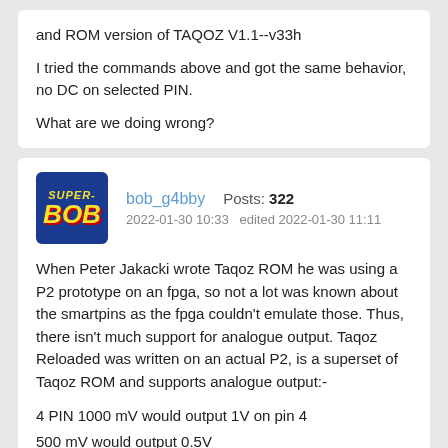and ROM version of TAQOZ V1.1--v33h
I tried the commands above and got the same behavior, no DC on selected PIN.
What are we doing wrong?
bob_g4bby  Posts: 322
2022-01-30 10:33   edited 2022-01-30 11:11
When Peter Jakacki wrote Taqoz ROM he was using a P2 prototype on an fpga, so not a lot was known about the smartpins as the fpga couldn't emulate those. Thus, there isn't much support for analogue output. Taqoz Reloaded was written on an actual P2, is a superset of Taqoz ROM and supports analogue output:-
4 PIN 1000 mV would output 1V on pin 4
500 mV would output 0.5V
The word mV is defined in extend.fth found in directory